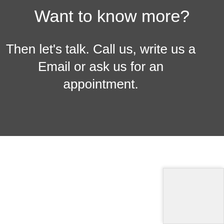Want to know more?
Then let's talk. Call us, write us a Email or ask us for an appointment.
[Figure (other): White box/card element in bottom-right corner of white section]